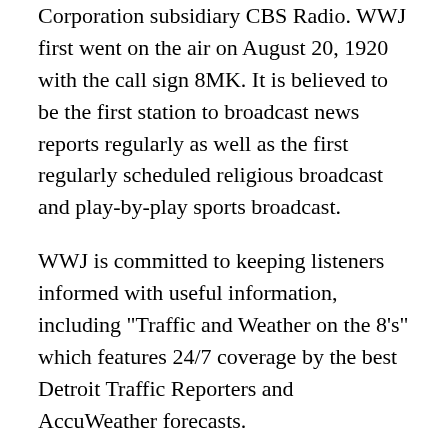Corporation subsidiary CBS Radio. WWJ first went on the air on August 20, 1920 with the call sign 8MK. It is believed to be the first station to broadcast news reports regularly as well as the first regularly scheduled religious broadcast and play-by-play sports broadcast.
WWJ is committed to keeping listeners informed with useful information, including "Traffic and Weather on the 8's" which features 24/7 coverage by the best Detroit Traffic Reporters and AccuWeather forecasts.
On August 20, 1920, The Detroit News started the station with the call sign 8MK, Then, on October 13, 1921 the station was granted a limited commercial license and was assigned the call letters WBL. With the new license, the station began broadcasting at